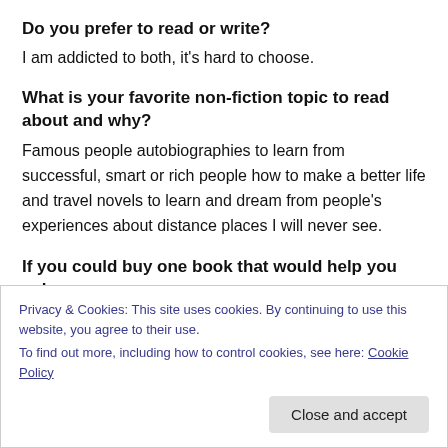Do you prefer to read or write?
I am addicted to both, it's hard to choose.
What is your favorite non-fiction topic to read about and why?
Famous people autobiographies to learn from successful, smart or rich people how to make a better life and travel novels to learn and dream from people's experiences about distance places I will never see.
If you could buy one book that would help you solve a
Privacy & Cookies: This site uses cookies. By continuing to use this website, you agree to their use.
To find out more, including how to control cookies, see here: Cookie Policy